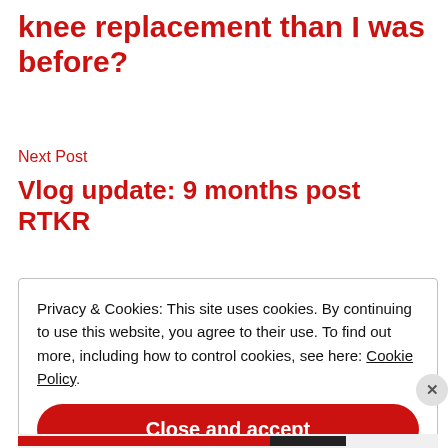knee replacement than I was before?
Next Post
Vlog update: 9 months post RTKR
Privacy & Cookies: This site uses cookies. By continuing to use this website, you agree to their use. To find out more, including how to control cookies, see here: Cookie Policy
Close and accept